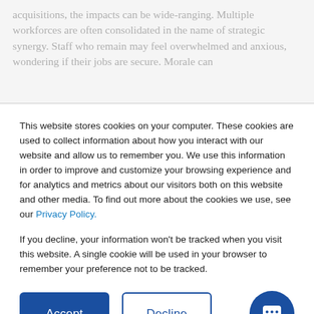acquisitions, the impacts can be wide-ranging. Multiple workforces are often consolidated in the name of strategic synergy. Staff who remain may feel overwhelmed and anxious, wondering if their jobs are secure. Morale can
This website stores cookies on your computer. These cookies are used to collect information about how you interact with our website and allow us to remember you. We use this information in order to improve and customize your browsing experience and for analytics and metrics about our visitors both on this website and other media. To find out more about the cookies we use, see our Privacy Policy.
If you decline, your information won't be tracked when you visit this website. A single cookie will be used in your browser to remember your preference not to be tracked.